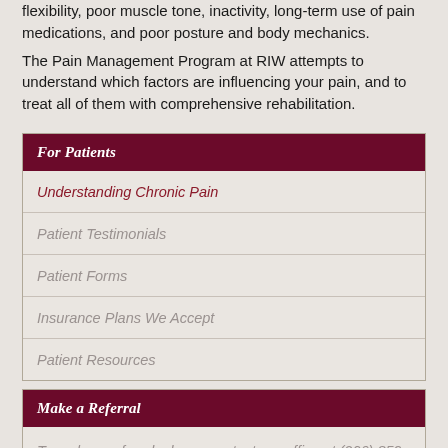flexibility, poor muscle tone, inactivity, long-term use of pain medications, and poor posture and body mechanics.
The Pain Management Program at RIW attempts to understand which factors are influencing your pain, and to treat all of them with comprehensive rehabilitation.
For Patients
Understanding Chronic Pain
Patient Testimonials
Patient Forms
Insurance Plans We Accept
Patient Resources
Make a Referral
To make a referral, please contact our office at (206) 859-5030, or visit our referrals page.